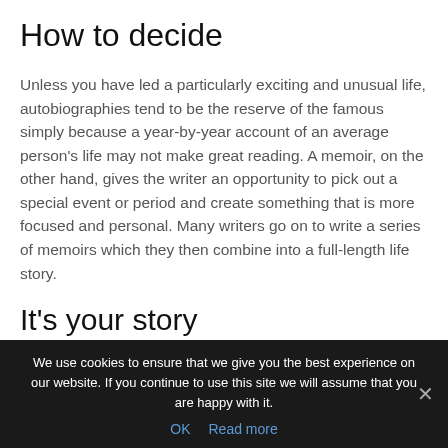How to decide
Unless you have led a particularly exciting and unusual life, autobiographies tend to be the reserve of the famous simply because a year-by-year account of an average person's life may not make great reading. A memoir, on the other hand, gives the writer an opportunity to pick out a special event or period and create something that is more focused and personal. Many writers go on to write a series of memoirs which they then combine into a full-length life story.
It's your story
We use cookies to ensure that we give you the best experience on our website. If you continue to use this site we will assume that you are happy with it.
OK  Read more